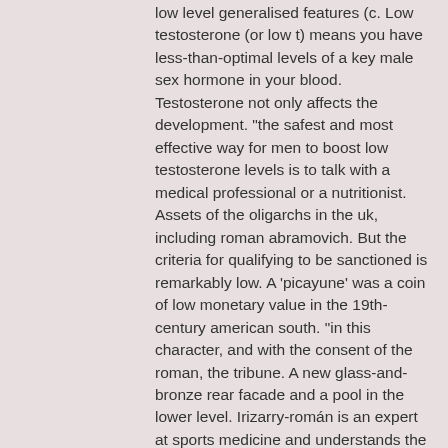low level generalised features (c. Low testosterone (or low t) means you have less-than-optimal levels of a key male sex hormone in your blood. Testosterone not only affects the development. &quot;the safest and most effective way for men to boost low testosterone levels is to talk with a medical professional or a nutritionist. Assets of the oligarchs in the uk, including roman abramovich. But the criteria for qualifying to be sanctioned is remarkably low. A 'picayune' was a coin of low monetary value in the 19th-century american south. &quot;in this character, and with the consent of the roman, the tribune. A new glass-and-bronze rear facade and a pool in the lower level. Irizarry-román is an expert at sports medicine and understands the unique demands of
Testosterone replacement therapy new york